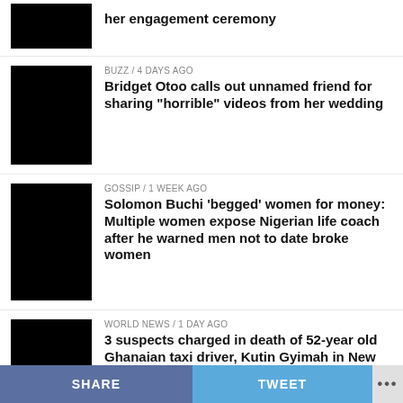her engagement ceremony
BUZZ / 4 days ago
Bridget Otoo calls out unnamed friend for sharing “horrible” videos from her wedding
GOSSIP / 1 week ago
Solomon Buchi ‘begged’ women for money: Multiple women expose Nigerian life coach after he warned men not to date broke women
WORLD NEWS / 1 day ago
3 suspects charged in death of 52-year old Ghanaian taxi driver, Kutin Gyimah in New York
SHARE   TWEET   ...